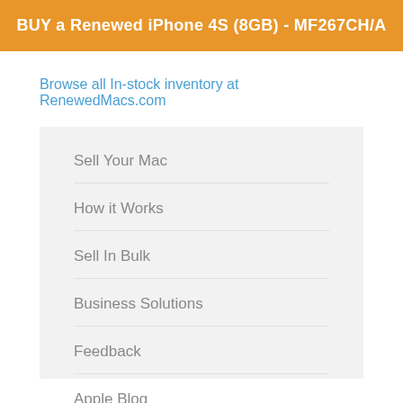BUY a Renewed iPhone 4S (8GB) - MF267CH/A
Browse all In-stock inventory at RenewedMacs.com
Sell Your Mac
How it Works
Sell In Bulk
Business Solutions
Feedback
Apple Blog
Mac Guide